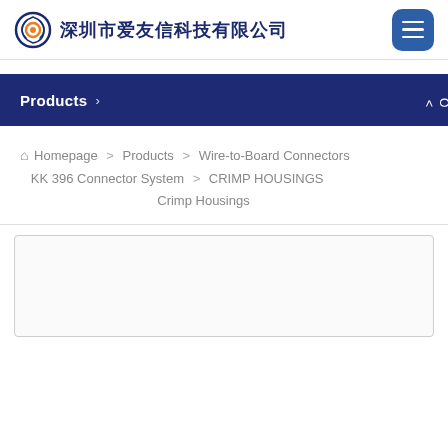深圳市爱友信科技有限公司
Products >
< Online custo
🏠 Homepage > Products > Wire-to-Board Connectors > KK 396 Connector System > CRIMP HOUSINGS > Crimp Housings